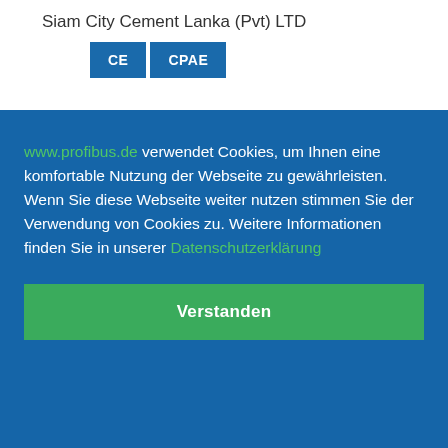Siam City Cement Lanka (Pvt) LTD
[Figure (other): Two blue badge/label buttons labeled CE and CPAE]
www.profibus.de verwendet Cookies, um Ihnen eine komfortable Nutzung der Webseite zu gewährleisten. Wenn Sie diese Webseite weiter nutzen stimmen Sie der Verwendung von Cookies zu. Weitere Informationen finden Sie in unserer Datenschutzerklärung
Verstanden